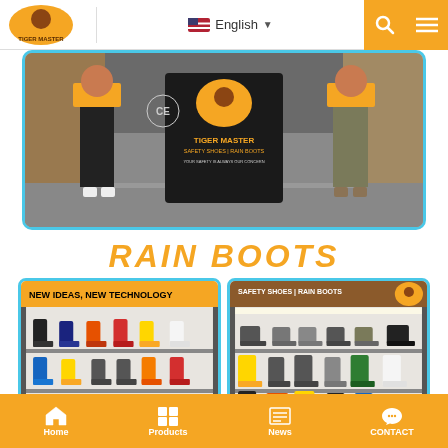[Figure (screenshot): Tiger Master website header with logo on left, English language selector in center, search and menu icons on right in orange background]
[Figure (photo): Trade show booth display for Tiger Master Safety Shoes and Rain Boots. Two people visible at the booth with CE certified sign on black banner.]
RAIN BOOTS
[Figure (photo): Display shelf of rain boots with 'NEW IDEAS, NEW TECHNOLOGY' banner in orange. Multiple colored rain boots on three shelves.]
[Figure (photo): Display shelf of safety shoes and rain boots with 'SAFETY SHOES | RAIN BOOTS' banner in brown. Various shoes and boots on shelves.]
PROFESSIONAL SAFETY SHOE & RAIN BOOT FACTORY
Home | Products | News | CONTACT